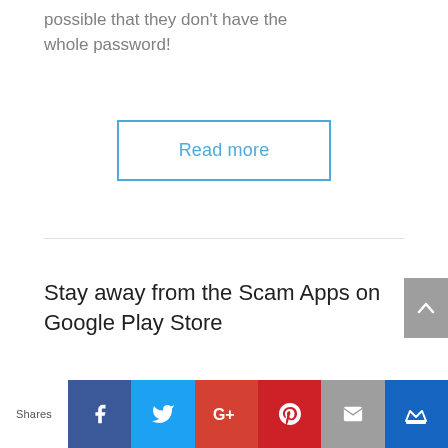possible that they don't have the whole password!
Read more
Stay away from the Scam Apps on Google Play Store
Shares [Facebook] [Twitter] [G+] [Pinterest] [Email] [Crown]